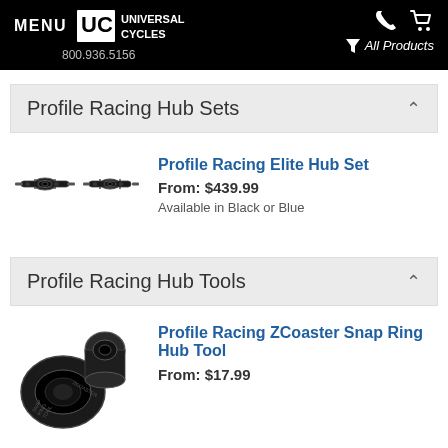MENU | UC UNIVERSAL CYCLES | 800.936.5156 | All Products
Profile Racing Hub Sets
[Figure (photo): Two black BMX hub components side by side]
Profile Racing Elite Hub Set
From: $439.99
Available in Black or Blue
Profile Racing Hub Tools
[Figure (photo): Two black ZCoaster snap ring hub tool components]
Profile Racing ZCoaster Snap Ring Hub Tool
From: $17.99